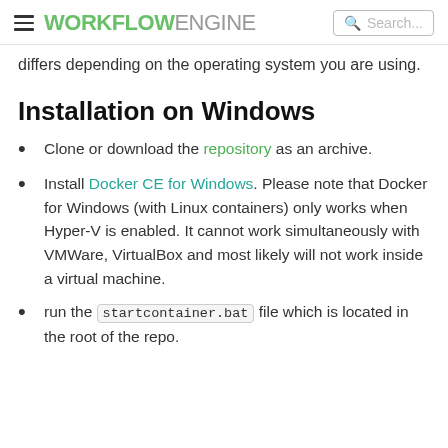WORKFLOWENGINE  Search...
differs depending on the operating system you are using.
Installation on Windows
Clone or download the repository as an archive.
Install Docker CE for Windows. Please note that Docker for Windows (with Linux containers) only works when Hyper-V is enabled. It cannot work simultaneously with VMWare, VirtualBox and most likely will not work inside a virtual machine.
run the startcontainer.bat file which is located in the root of the repo.